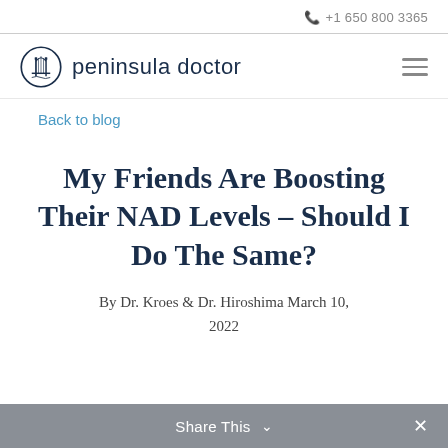+1 650 800 3365
[Figure (logo): Peninsula Doctor logo — circular bridge icon with the text 'peninsula doctor']
Back to blog
My Friends Are Boosting Their NAD Levels – Should I Do The Same?
By Dr. Kroes & Dr. Hiroshima March 10, 2022
Share This